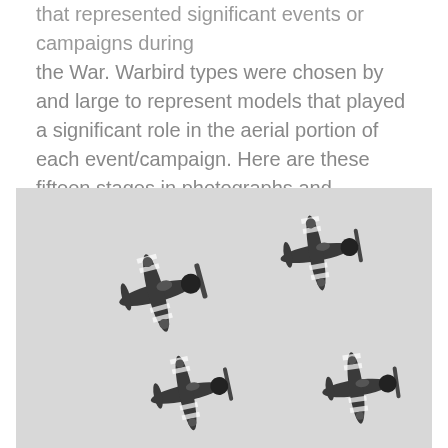that represented significant events or campaigns during the War. Warbird types were chosen by and large to represent models that played a significant role in the aerial portion of each event/campaign. Here are these fifteen stages in photographs and captions. The order in which the formations appear (from top to bottom) is the same order as they flew overhead.
[Figure (photo): Black and white photograph of four WWII-era warbird aircraft in formation flight against a light grey sky. The aircraft appear to be Corsairs or similar fighters, showing invasion stripes. Two aircraft are visible in the upper portion and two more in the lower portion of the image, all flying in a loose formation.]